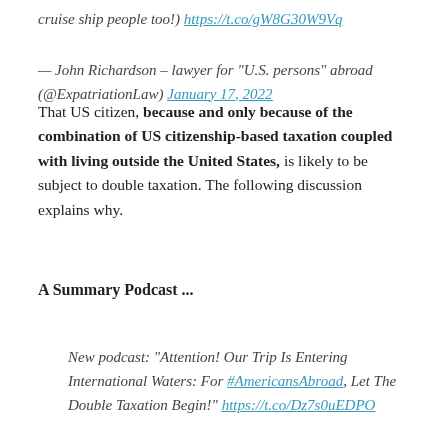cruise ship people too!) https://t.co/gW8G30W9Vq
— John Richardson – lawyer for "U.S. persons" abroad (@ExpatriationLaw) January 17, 2022
That US citizen, because and only because of the combination of US citizenship-based taxation coupled with living outside the United States, is likely to be subject to double taxation. The following discussion explains why.
A Summary Podcast ...
New podcast: "Attention! Our Trip Is Entering International Waters: For #AmericansAbroad, Let The Double Taxation Begin!" https://t.co/Dz7s0uEDPO